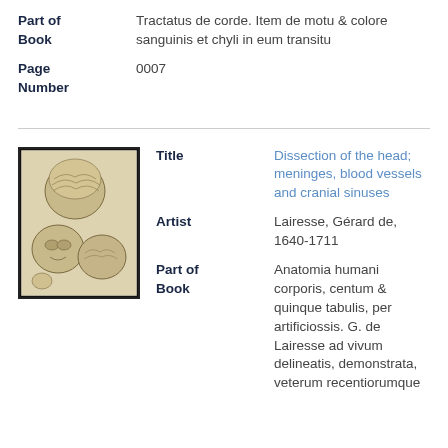Part of Book: Tractatus de corde. Item de motu & colore sanguinis et chyli in eum transitu
Page Number: 0007
[Figure (photo): Anatomical illustration showing dissections of the human head, depicting skulls and brain structures in a historic engraving style]
Title: Dissection of the head; meninges, blood vessels and cranial sinuses
Artist: Lairesse, Gérard de, 1640-1711
Part of Book: Anatomia humani corporis, centum & quinque tabulis, per artificiossis. G. de Lairesse ad vivum delineatis, demonstrata, veterum recentiorumque